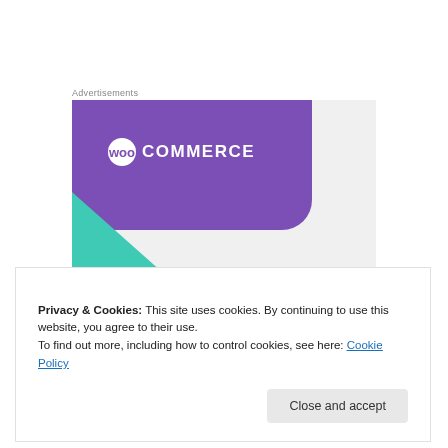Advertisements
[Figure (illustration): WooCommerce advertisement banner showing purple header with WooCommerce logo, teal triangle decoration, blue quarter-circle, and bold text: 'How to start selling subscriptions online']
Privacy & Cookies: This site uses cookies. By continuing to use this website, you agree to their use.
To find out more, including how to control cookies, see here: Cookie Policy
Close and accept